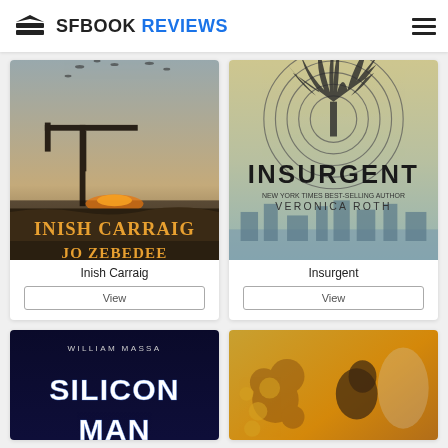SFBOOK REVIEWS
[Figure (photo): Book cover: Inish Carraig by Jo Zebedee]
Inish Carraig
View
[Figure (photo): Book cover: Insurgent by Veronica Roth]
Insurgent
View
[Figure (photo): Book cover: Silicon Man by William Massa (partially visible)]
[Figure (photo): Book cover: unknown title (partially visible, fantasy/sci-fi with figure)]